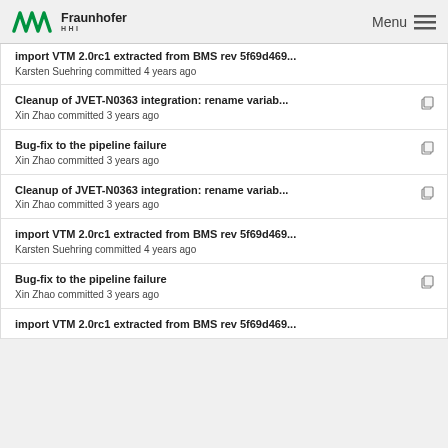Fraunhofer HHI — Menu
import VTM 2.0rc1 extracted from BMS rev 5f69d469...
Karsten Suehring committed 4 years ago
Cleanup of JVET-N0363 integration: rename variab...
Xin Zhao committed 3 years ago
Bug-fix to the pipeline failure
Xin Zhao committed 3 years ago
Cleanup of JVET-N0363 integration: rename variab...
Xin Zhao committed 3 years ago
import VTM 2.0rc1 extracted from BMS rev 5f69d469...
Karsten Suehring committed 4 years ago
Bug-fix to the pipeline failure
Xin Zhao committed 3 years ago
import VTM 2.0rc1 extracted from BMS rev 5f69d469...